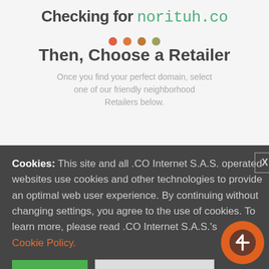Checking for norituh.co
[Figure (infographic): Four progress dots in a row: red, orange, dark orange, olive/green]
Then, Choose a Retailer
Once you find your perfect domain, select one of our friendly neighborhood Retailers below.
Cookies: This site and all .CO Internet S.A.S. operated websites use cookies and other technologies to provide an optimal web user experience. By continuing without changing settings, you agree to the use of cookies. To learn more, please read .CO Internet S.A.S.'s Cookie Policy.
CONTINUE
TURN COOKIES OFF